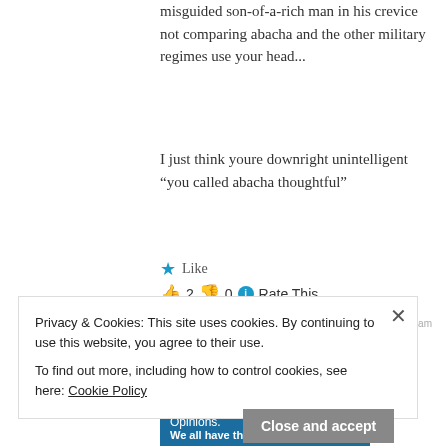What we are doing here is putting a misguided son-of-a-rich man in his crevice not comparing abacha and the other military regimes use your head...
I just think youre downright unintelligent “you called abacha thoughtful”
★ Like
👍 2 👎 0 ⓘ Rate This
Privacy & Cookies: This site uses cookies. By continuing to use this website, you agree to their use.
To find out more, including how to control cookies, see here: Cookie Policy
Close and accept